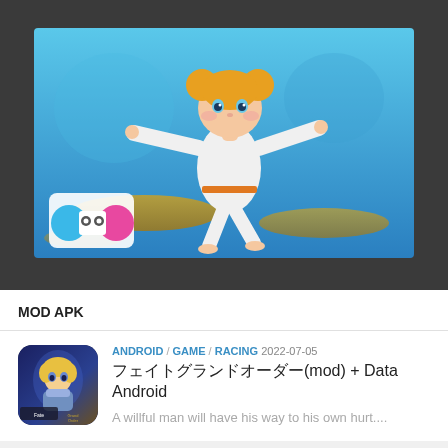[Figure (screenshot): Game banner image showing a cartoon karate girl in white gi with orange belt, blonde hair in buns, arms spread wide, standing on circular platforms against a blue background. A colorful character logo is in the bottom left.]
MOD APK
[Figure (screenshot): Game app icon showing an anime-style blonde warrior character (Fate/Grand Order style) with text 'Fate Grand Order' at bottom left]
ANDROID / GAME / RACING 2022-07-05
フェイトグランドオーダー(mod) + Data Android
A willful man will have his way to his own hurt....